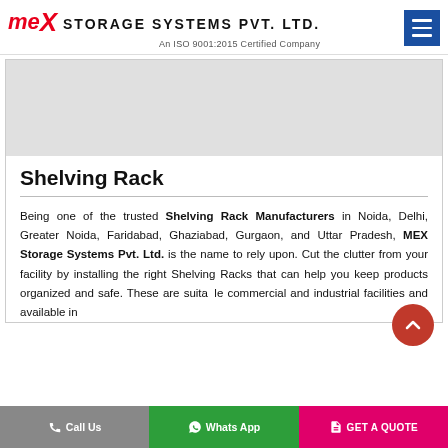MEX STORAGE SYSTEMS PVT. LTD. — An ISO 9001:2015 Certified Company
[Figure (photo): Product or facility image placeholder (grey box)]
Shelving Rack
Being one of the trusted Shelving Rack Manufacturers in Noida, Delhi, Greater Noida, Faridabad, Ghaziabad, Gurgaon, and Uttar Pradesh, MEX Storage Systems Pvt. Ltd. is the name to rely upon. Cut the clutter from your facility by installing the right Shelving Racks that can help you keep products organized and safe. These are suitable commercial and industrial facilities and available in
Call Us | Whats App | GET A QUOTE